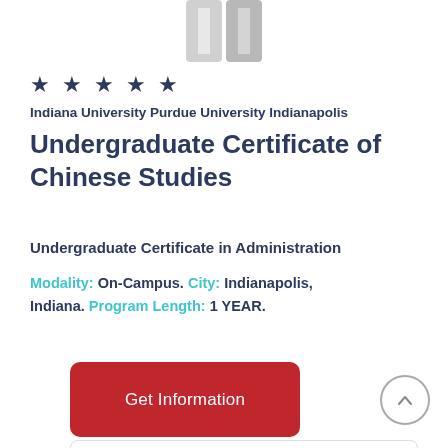[Figure (logo): Indiana University Purdue University Indianapolis logo (partial, cropped at top)]
★ ★ ★ ★ ★
Indiana University Purdue University Indianapolis
Undergraduate Certificate of Chinese Studies
Undergraduate Certificate in Administration
Modality: On-Campus. City: Indianapolis, Indiana. Program Length: 1 YEAR.
Get Information
Next Start: 03/13/2019